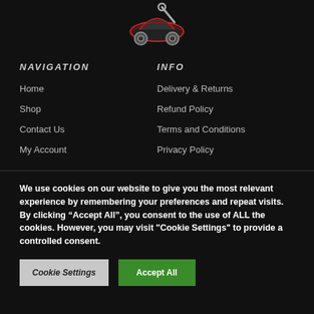[Figure (logo): Automotive shop logo — car with wrench, red outline, on black background]
NAVIGATION
INFO
Home
Delivery & Returns
Shop
Refund Policy
Contact Us
Terms and Conditions
My Account
Privacy Policy
We use cookies on our website to give you the most relevant experience by remembering your preferences and repeat visits. By clicking “Accept All”, you consent to the use of ALL the cookies. However, you may visit "Cookie Settings" to provide a controlled consent.